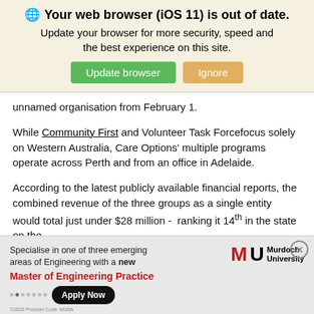[Figure (screenshot): Browser update notification banner with globe icon, bold warning text 'Your web browser (iOS 11) is out of date.', subtitle text, and two buttons: green 'Update browser' and tan 'Ignore'.]
unnamed organisation from February 1.
While Community First and Volunteer Task Forcefocus solely on Western Australia, Care Options' multiple programs operate across Perth and from an office in Adelaide.
According to the latest publicly available financial reports, the combined revenue of the three groups as a single entity would total just under $28 million - ranking it 14th in the state on the
[Figure (screenshot): Murdoch University advertisement banner: MU logo in red and black, text 'Specialise in one of three emerging areas of Engineering with a new Master of Engineering Practice', with Apply Now button and navigation dots.]